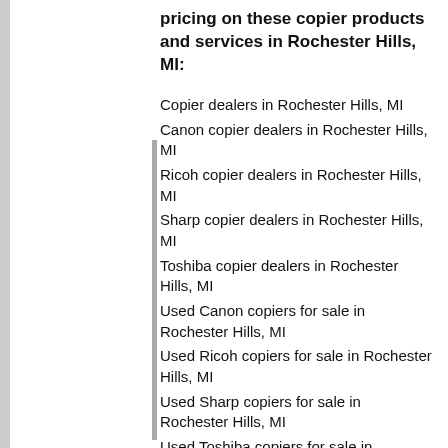pricing on these copier products and services in Rochester Hills, MI:
Copier dealers in Rochester Hills, MI
Canon copier dealers in Rochester Hills, MI
Ricoh copier dealers in Rochester Hills, MI
Sharp copier dealers in Rochester Hills, MI
Toshiba copier dealers in Rochester Hills, MI
Used Canon copiers for sale in Rochester Hills, MI
Used Ricoh copiers for sale in Rochester Hills, MI
Used Sharp copiers for sale in Rochester Hills, MI
Used Toshiba copiers for sale in Rochester Hills, MI